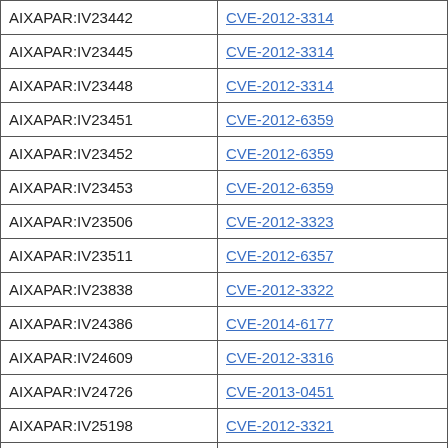| ID | CVE |
| --- | --- |
| AIXAPAR:IV23442 | CVE-2012-3314 |
| AIXAPAR:IV23445 | CVE-2012-3314 |
| AIXAPAR:IV23448 | CVE-2012-3314 |
| AIXAPAR:IV23451 | CVE-2012-6359 |
| AIXAPAR:IV23452 | CVE-2012-6359 |
| AIXAPAR:IV23453 | CVE-2012-6359 |
| AIXAPAR:IV23506 | CVE-2012-3323 |
| AIXAPAR:IV23511 | CVE-2012-6357 |
| AIXAPAR:IV23838 | CVE-2012-3322 |
| AIXAPAR:IV24386 | CVE-2014-6177 |
| AIXAPAR:IV24609 | CVE-2012-3316 |
| AIXAPAR:IV24726 | CVE-2013-0451 |
| AIXAPAR:IV25198 | CVE-2012-3321 |
| AIXAPAR:IV25285 | CVE-2014-6181 |
| AIXAPAR:IV26033 | CVE-2013-0582 |
| AIXAPAR:IV26034 | CVE-2013-0582 |
| AIXAPAR:IV26309 | CVE-2014-6186 |
| AIXAPAR:IV26377 | CVE-2012-3333 |